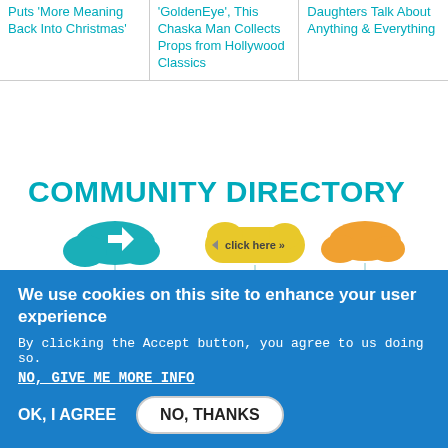Puts 'More Meaning Back Into Christmas'
'GoldenEye', This Chaska Man Collects Props from Hollywood Classics
Daughters Talk About Anything & Everything
COMMUNITY DIRECTORY
[Figure (illustration): Illustrated community directory graphic showing colorful cartoon buildings, houses, trees, clouds, and small human silhouettes connected by lines, with a yellow 'click here' button in the center top.]
We use cookies on this site to enhance your user experience
By clicking the Accept button, you agree to us doing so.
NO, GIVE ME MORE INFO
OK, I AGREE
NO, THANKS